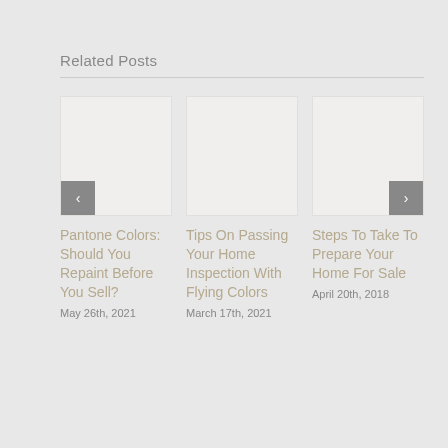Related Posts
[Figure (photo): Blank/white placeholder image for 'Pantone Colors: Should You Repaint Before You Sell?' blog post]
[Figure (photo): Blank/white placeholder image for 'Tips On Passing Your Home Inspection With Flying Colors' blog post]
[Figure (photo): Blank/white placeholder image for 'Steps To Take To Prepare Your Home For Sale' blog post]
Pantone Colors: Should You Repaint Before You Sell?
May 26th, 2021
Tips On Passing Your Home Inspection With Flying Colors
March 17th, 2021
Steps To Take To Prepare Your Home For Sale
April 20th, 2018